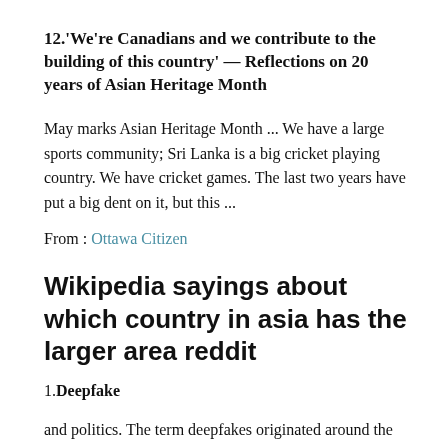12.'We're Canadians and we contribute to the building of this country' — Reflections on 20 years of Asian Heritage Month
May marks Asian Heritage Month ... We have a large sports community; Sri Lanka is a big cricket playing country. We have cricket games. The last two years have put a big dent on it, but this ...
From : Ottawa Citizen
Wikipedia sayings about which country in asia has the larger area reddit
1.Deepfake
and politics. The term deepfakes originated around the